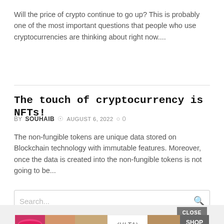Will the price of crypto continue to go up? This is probably one of the most important questions that people who use cryptocurrencies are thinking about right now....
The touch of cryptocurrency is NFTs!
BY SOUHAIB  © AUGUST 6, 2022  ○ 0
The non-fungible tokens are unique data stored on Blockchain technology with immutable features. Moreover, once the data is created into the non-fungible tokens is not going to be...
Search...
[Figure (other): CLOSE button and ULTA beauty advertisement banner with makeup images and SHOP NOW text]